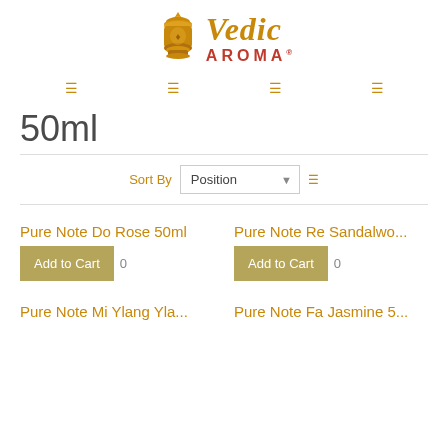[Figure (logo): Vedic Aroma logo with golden decorative pot and stylized text]
navigation icons
50ml
Sort By Position
Pure Note Do Rose 50ml
Add to Cart
Pure Note Re Sandalwo...
Add to Cart
Pure Note Mi Ylang Yla...
Pure Note Fa Jasmine 5...